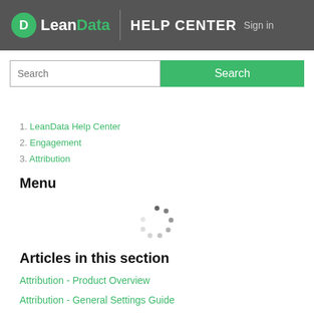LeanData HELP CENTER Sign in
[Figure (screenshot): Search input box and green Search button]
1. LeanData Help Center
2. Engagement
3. Attribution
Menu
[Figure (infographic): Loading spinner indicator (dots in circular arrangement)]
Articles in this section
Attribution - Product Overview
Attribution - General Settings Guide